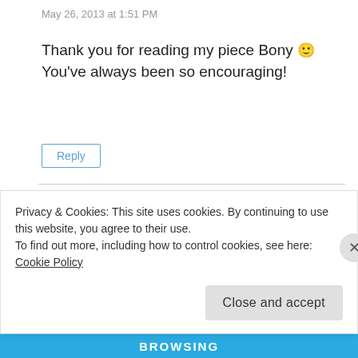May 26, 2013 at 1:51 PM
Thank you for reading my piece Bony 🙂 You've always been so encouraging!
Reply
forestsmomma1
May 24, 2013 at 11:02 AM
Privacy & Cookies: This site uses cookies. By continuing to use this website, you agree to their use.
To find out more, including how to control cookies, see here: Cookie Policy
Close and accept